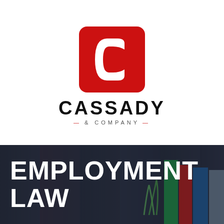[Figure (logo): Cassady & Company logo with red rounded-square C icon and bold company name]
EMPLOYMENT LAW
[Figure (photo): Dark background photo showing law books and a person in a suit with a tie, overlaid with large white text EMPLOYMENT LAW]